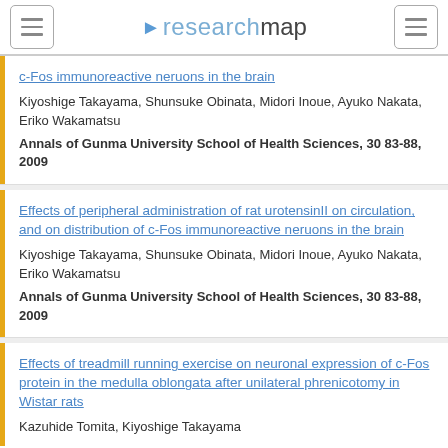researchmap
c-Fos immunoreactive neruons in the brain
Kiyoshige Takayama, Shunsuke Obinata, Midori Inoue, Ayuko Nakata, Eriko Wakamatsu
Annals of Gunma University School of Health Sciences, 30 83-88, 2009
Effects of peripheral administration of rat urotensinII on circulation, and on distribution of c-Fos immunoreactive neruons in the brain
Kiyoshige Takayama, Shunsuke Obinata, Midori Inoue, Ayuko Nakata, Eriko Wakamatsu
Annals of Gunma University School of Health Sciences, 30 83-88, 2009
Effects of treadmill running exercise on neuronal expression of c-Fos protein in the medulla oblongata after unilateral phrenicotomy in Wistar rats
Kazuhide Tomita, Kiyoshige Takayama